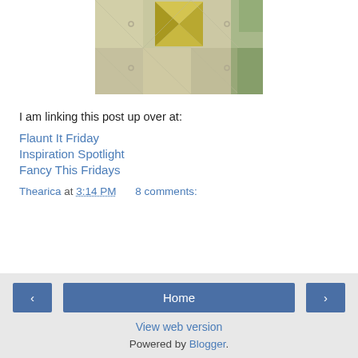[Figure (photo): Close-up photograph of a quilted fabric with pinwheel pattern in yellow/gold and green tones on a cream/beige background with embroidered scroll details]
I am linking this post up over at:
Flaunt It Friday
Inspiration Spotlight
Fancy This Fridays
Thearica at 3:14 PM    8 comments:
< Home >  View web version  Powered by Blogger.